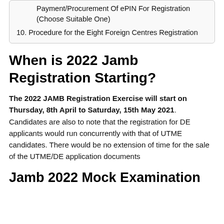Payment/Procurement Of ePIN For Registration (Choose Suitable One)
10. Procedure for the Eight Foreign Centres Registration
When is 2022 Jamb Registration Starting?
The 2022 JAMB Registration Exercise will start on Thursday, 8th April to Saturday, 15th May 2021. Candidates are also to note that the registration for DE applicants would run concurrently with that of UTME candidates. There would be no extension of time for the sale of the UTME/DE application documents
Jamb 2022 Mock Examination